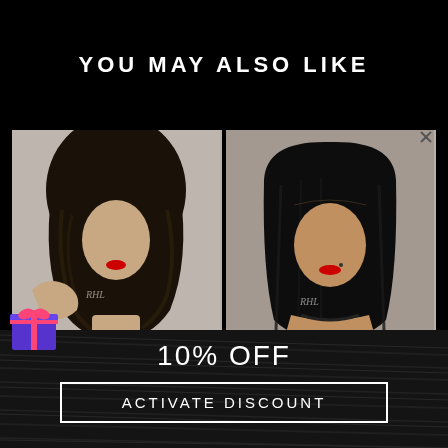YOU MAY ALSO LIKE
[Figure (photo): Product photo of a mannequin wearing a long wavy full lace wig, dark hair, red lips, with RHL brand watermark]
[Figure (photo): Product photo of a mannequin wearing a full lace wig with straighter style, dark hair, red lips, with RHL brand watermark]
Sana | Full Lace Wig 100% Virgin Indian Remy Human
Full Lace Wig 100% Virgin Indian Remy Human Hair |
[Figure (illustration): Blue/purple gift box icon with ribbon]
10% OFF
ACTIVATE DISCOUNT